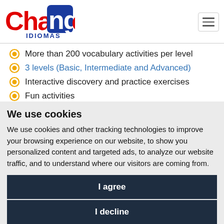[Figure (logo): Change Idiomas logo with red 'Change' text and blue square background with 'ng' letters, plus 'IDIOMAS' in blue below]
More than 200 vocabulary activities per level
3 levels (Basic, Intermediate and Advanced)
Interactive discovery and practice exercises
Fun activities
A wide range of additional tools and features
We use cookies
We use cookies and other tracking technologies to improve your browsing experience on our website, to show you personalized content and targeted ads, to analyze our website traffic, and to understand where our visitors are coming from.
I agree
I decline